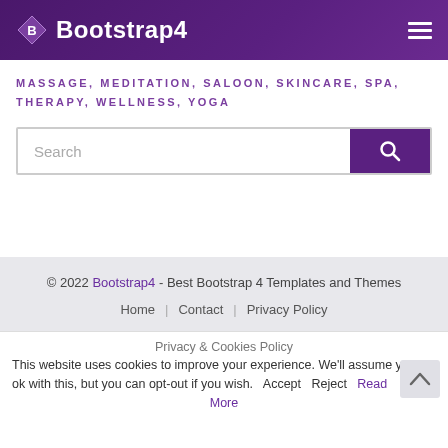Bootstrap4
MASSAGE, MEDITATION, SALOON, SKINCARE, SPA, THERAPY, WELLNESS, YOGA
Search
© 2022 Bootstrap4 - Best Bootstrap 4 Templates and Themes
Home | Contact | Privacy Policy
Privacy & Cookies Policy
This website uses cookies to improve your experience. We'll assume you're ok with this, but you can opt-out if you wish. Accept Reject Read More